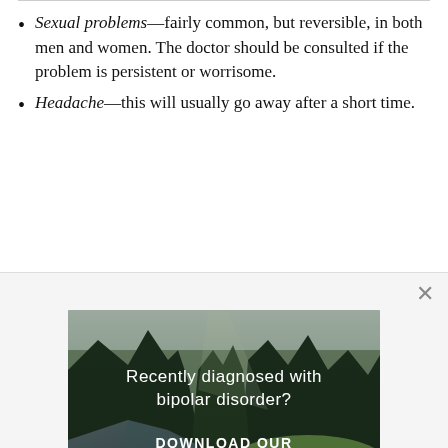Sexual problems—fairly common, but reversible, in both men and women. The doctor should be consulted if the problem is persistent or worrisome.
Headache—this will usually go away after a short time.
[Figure (photo): Advertisement banner showing a forest with a river stream. Text overlay reads 'Recently diagnosed with bipolar disorder? DOWNLOAD OUR FREE EBOOK NOW.' with a white underline.]
advertisement